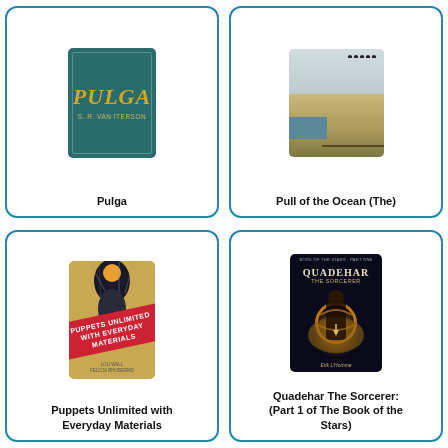[Figure (illustration): Book cover for Pulga with teal background and yellow italic title text, author S.R. Van Iterson]
Pulga
[Figure (illustration): Book cover for Pull of the Ocean (The) showing a coastal cliff scene with birds and ocean]
Pull of the Ocean (The)
[Figure (illustration): Book cover for Puppets Unlimited with Everyday Materials showing a tan cover with red diagonal banner and puppet illustration]
Puppets Unlimited with Everyday Materials
[Figure (illustration): Book cover for Quadehar The Sorcerer: Part 1 of The Book of the Stars, dark fantasy cover by Erik L'Homme]
Quadehar The Sorcerer: (Part 1 of The Book of the Stars)